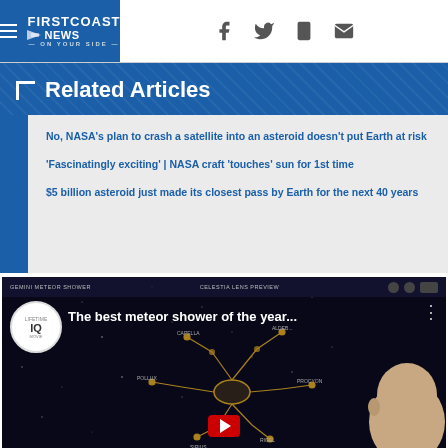First Coast News
Related Articles
No, NASA's plan to crash a satellite into an asteroid doesn't put Earth at risk
'Fascinatingly exciting' | NASA craft 'touches' sun for 1st time
$5 billion asteroid just made its closest pass by Earth for the next 40 years
[Figure (screenshot): YouTube video thumbnail: 'The best meteor shower of the year...' showing a star map with constellation lines and a bald man's head on the right side]